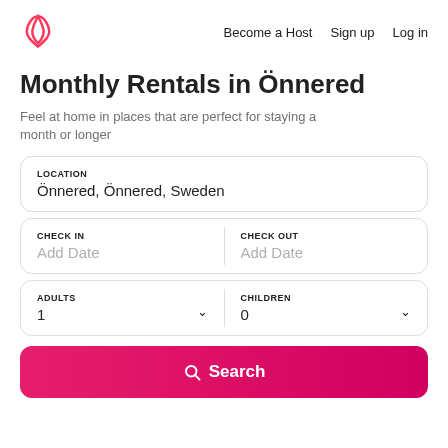Become a Host  Sign up  Log in
Monthly Rentals in Önnered
Feel at home in places that are perfect for staying a month or longer
LOCATION
Önnered, Önnered, Sweden
CHECK IN
Add Date
CHECK OUT
Add Date
ADULTS
1
CHILDREN
0
Search